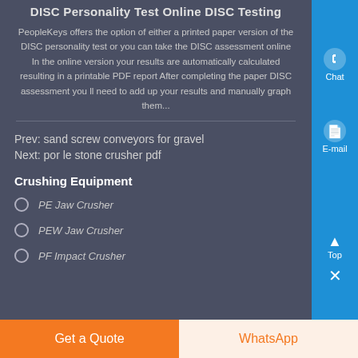DISC Personality Test Online DISC Testing
PeopleKeys offers the option of either a printed paper version of the DISC personality test or you can take the DISC assessment online In the online version your results are automatically calculated resulting in a printable PDF report After completing the paper DISC assessment you ll need to add up your results and manually graph them...
Prev: sand screw conveyors for gravel
Next: por le stone crusher pdf
Crushing Equipment
PE Jaw Crusher
PEW Jaw Crusher
PF Impact Crusher
Get a Quote
WhatsApp